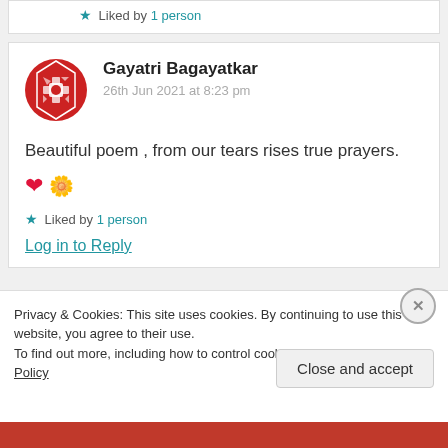★ Liked by 1 person
Gayatri Bagayatkar
26th Jun 2021 at 8:23 pm
Beautiful poem , from our tears rises true prayers. ❤️ 🌼
★ Liked by 1 person
Log in to Reply
Privacy & Cookies: This site uses cookies. By continuing to use this website, you agree to their use.
To find out more, including how to control cookies, see here: Cookie Policy
Close and accept